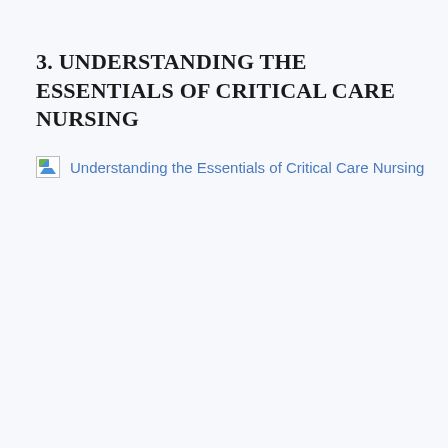3. UNDERSTANDING THE ESSENTIALS OF CRITICAL CARE NURSING
[Figure (other): Broken image icon followed by a hyperlink reading 'Understanding the Essentials of Critical Care Nursing']